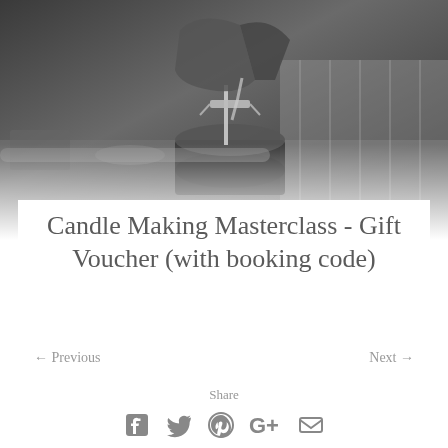The London Refinery — navigation header
[Figure (photo): Black and white photo of candle making — wax being poured into a jar with a wick held by a clip]
Candle Making Masterclass - Gift Voucher (with booking code)
← Previous
Next →
Share
[Figure (infographic): Social share icons: Facebook, Twitter, Pinterest, Google+, Email]